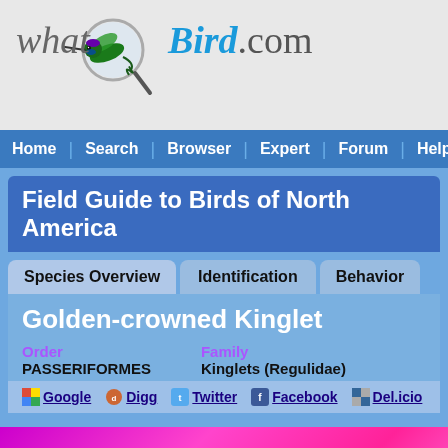[Figure (logo): WhatBird.com logo with hummingbird and magnifying glass]
Home | Search | Browser | Expert | Forum | Help | Site M
Field Guide to Birds of North America
Species Overview | Identification | Behavior
Golden-crowned Kinglet
Order: PASSERIFORMES | Family: Kinglets (Regulidae)
Google | Digg | Twitter | Facebook | Del.icio
FIND. VIEW. LISTEN. EXPL
iBIRD, AN ULTIMATE INTERACTIVE BIRD GUIDE. STARTING